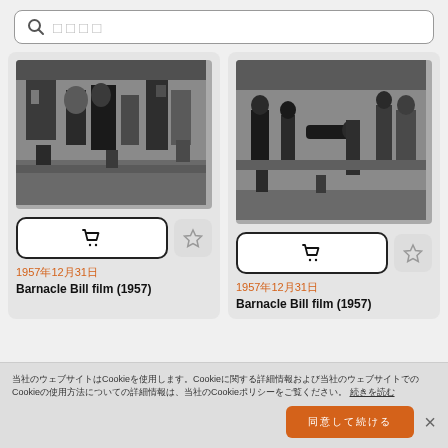[Figure (screenshot): Search bar with magnifying glass icon and placeholder text (Japanese characters)]
[Figure (photo): Black and white film still from Barnacle Bill (1957) showing people in a street scene]
[Figure (photo): Black and white film still from Barnacle Bill (1957) showing people in a street scene, one person being carried]
1957年12月31日
Barnacle Bill film (1957)
1957年12月31日
Barnacle Bill film (1957)
当社のウェブサイトはCookieを使用します。Cookieに関する詳細情報および当社のウェブサイトでのCookieの使用方法についての詳細情報は、当社のCookieポリシーをご覧ください。 続きを読む
同意して続ける